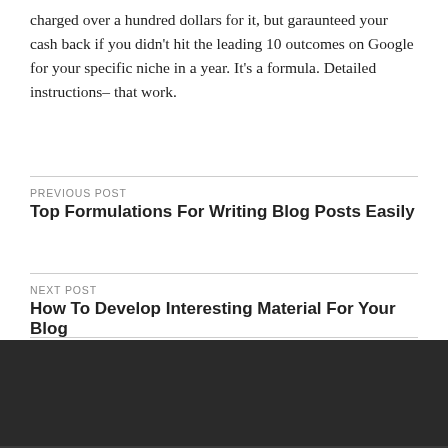charged over a hundred dollars for it, but garaunteed your cash back if you didn’t hit the leading 10 outcomes on Google for your specific niche in a year. It’s a formula. Detailed instructions– that work.
PREVIOUS POST
Top Formulations For Writing Blog Posts Easily
NEXT POST
How To Develop Interesting Material For Your Blog